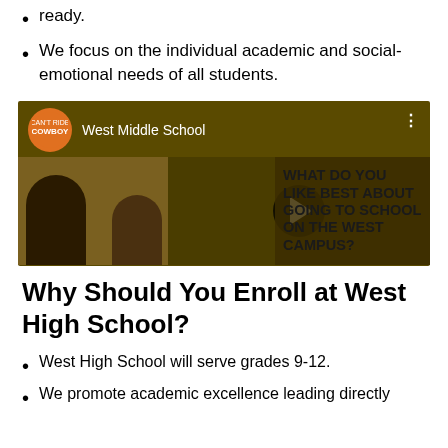ready.
We focus on the individual academic and social-emotional needs of all students.
[Figure (screenshot): YouTube video thumbnail for West Middle School channel showing two students with text 'WHAT DO YOU LIKE BEST ABOUT GOING TO SCHOOL ON THE WEST CAMPUS?' and a play button]
Why Should You Enroll at West High School?
West High School will serve grades 9-12.
We promote academic excellence leading directly